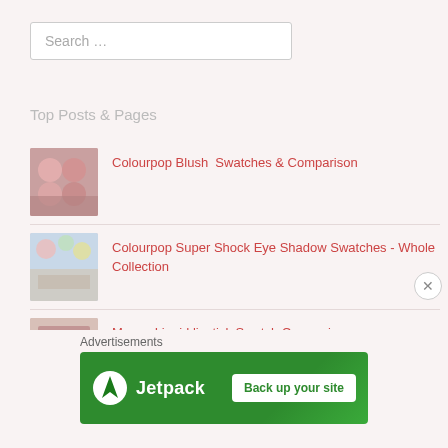Search …
Top Posts & Pages
Colourpop Blush  Swatches & Comparison
Colourpop Super Shock Eye Shadow Swatches - Whole Collection
Mauve Liquid lipstick Swatch Comparisons
Affordable & Available Kylie Leo Liquid Lipstick DUPES
Advertisements
[Figure (logo): Jetpack advertisement banner with green background, Jetpack logo and 'Back up your site' button]